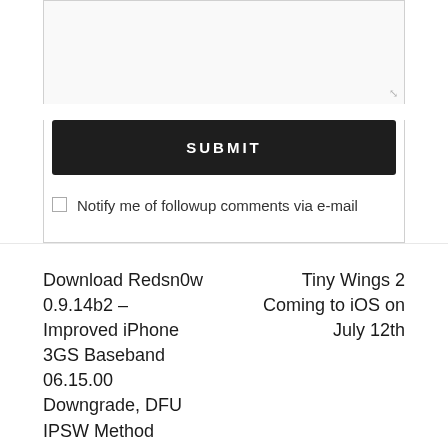[Figure (screenshot): A textarea input box with resize handle in bottom-right corner]
SUBMIT
Notify me of followup comments via e-mail
Download Redsn0w 0.9.14b2 – Improved iPhone 3GS Baseband 06.15.00 Downgrade, DFU IPSW Method
Tiny Wings 2 Coming to iOS on July 12th